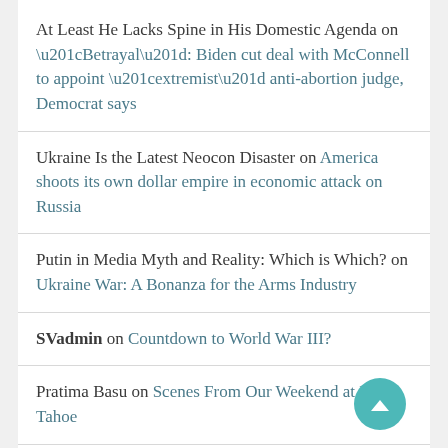At Least He Lacks Spine in His Domestic Agenda on “Betrayal”: Biden cut deal with McConnell to appoint “extremist” anti-abortion judge, Democrat says
Ukraine Is the Latest Neocon Disaster on America shoots its own dollar empire in economic attack on Russia
Putin in Media Myth and Reality: Which is Which? on Ukraine War: A Bonanza for the Arms Industry
SVadmin on Countdown to World War III?
Pratima Basu on Scenes From Our Weekend at Lake Tahoe